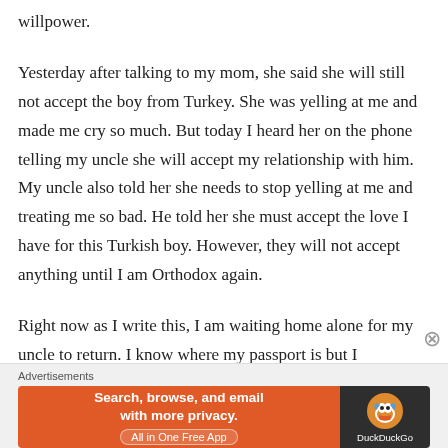willpower.
Yesterday after talking to my mom, she said she will still not accept the boy from Turkey. She was yelling at me and made me cry so much. But today I heard her on the phone telling my uncle she will accept my relationship with him. My uncle also told her she needs to stop yelling at me and treating me so bad. He told her she must accept the love I have for this Turkish boy. However, they will not accept anything until I am Orthodox again.
Right now as I write this, I am waiting home alone for my uncle to return. I know where my passport is but I
Advertisements
[Figure (other): DuckDuckGo advertisement banner: orange left side with text 'Search, browse, and email with more privacy. All in One Free App', dark right side with DuckDuckGo logo and name.]